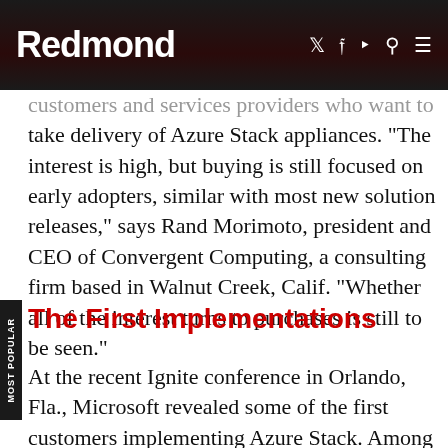Redmond
customers and services providers who want to take delivery of Azure Stack appliances. "The interest is high, but buying is still focused on early adopters, similar with most new solution releases," says Rand Morimoto, president and CEO of Convergent Computing, a consulting firm based in Walnut Creek, Calif. "Whether all of the interest turns to purchases is still to be seen."
The First Implementations
At the recent Ignite conference in Orlando, Fla., Microsoft revealed some of the first customers implementing Azure Stack. Among them is media production company Avid Technology Inc., which is using both Azure Stack and Azure Media Services to build cognitive analysis into the video editing process. Avid had announced plans to